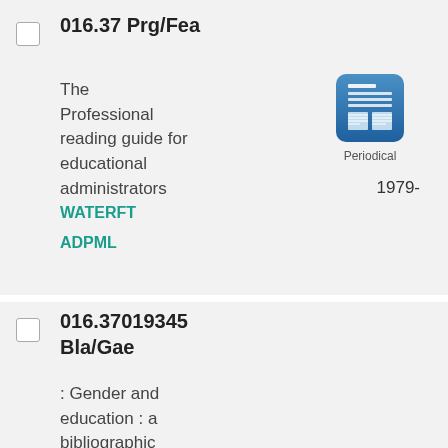016.37 Prg/Fea
The Professional reading guide for educational administrators
[Figure (illustration): Periodical icon - blue document/newspaper icon with label 'Periodical']
1979-
WATERFT
ADPML
016.37019345 Bla/Gae
: Gender and education : a bibliographic resource / compiled by Jill Blackmore, Jane